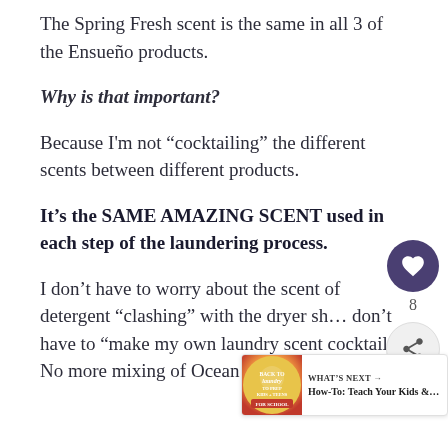The Spring Fresh scent is the same in all 3 of the Ensueño products.
Why is that important?
Because I'm not “cocktailing” the different scents between different products.
It’s the SAME AMAZING SCENT used in each step of the laundering process.
I don’t have to worry about the scent of detergent “clashing” with the dryer she… don’t have to “make my own laundry scent cocktail!” No more mixing of Ocean Breeze with